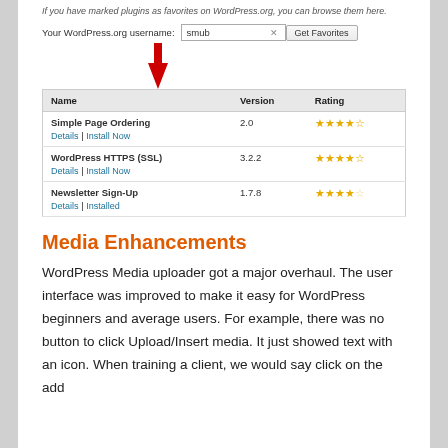If you have marked plugins as favorites on WordPress.org, you can browse them here.
[Figure (screenshot): WordPress.org username input field with value 'smub', an X button, a red arrow pointing at the input, and a 'Get Favorites' button]
| Name | Version | Rating |
| --- | --- | --- |
| Simple Page Ordering
Details | Install Now | 2.0 | ★★★★★ |
| WordPress HTTPS (SSL)
Details | Install Now | 3.2.2 | ★★★★★ |
| Newsletter Sign-Up
Details | Installed | 1.7.8 | ★★★★☆ |
Media Enhancements
WordPress Media uploader got a major overhaul. The user interface was improved to make it easy for WordPress beginners and average users. For example, there was no button to click Upload/Insert media. It just showed text with an icon. When training a client, we would say click on the add